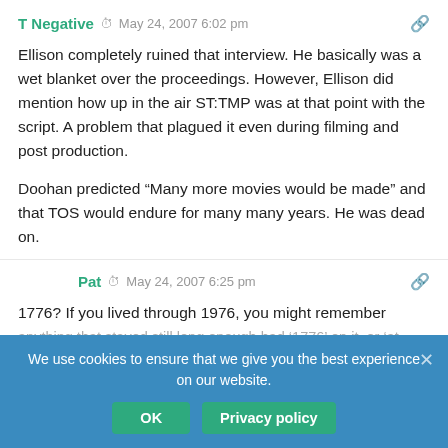T Negative  May 24, 2007 6:02 pm
Ellison completely ruined that interview. He basically was a wet blanket over the proceedings. However, Ellison did mention how up in the air ST:TMP was at that point with the script. A problem that plagued it even during filming and post production.

Doohan predicted “Many more movies would be made” and that TOS would endure for many many years. He was dead on.
Pat  May 24, 2007 6:25 pm
1776? If you lived through 1976, you might remember anything that stayed still long enough had ‘1776’ on it, or ‘at least ’76, so putting 1776 instead of 1701 was a fairly normal state of mind then.

I saw this live.
We use cookies to ensure that we give you the best experience on our website.